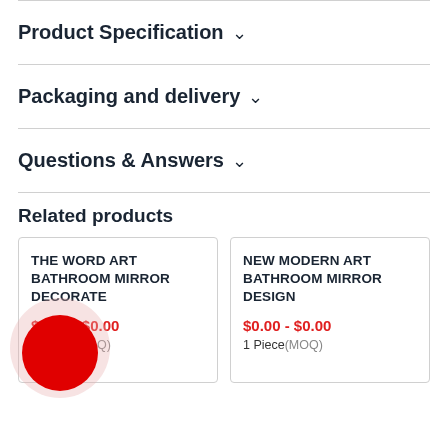Product Specification ˅
Packaging and delivery ˅
Questions & Answers ˅
Related products
THE WORD ART BATHROOM MIRROR DECORATE
$0.00 - $0.00
1 Piece(MOQ)
NEW MODERN ART BATHROOM MIRROR DESIGN
$0.00 - $0.00
1 Piece(MOQ)